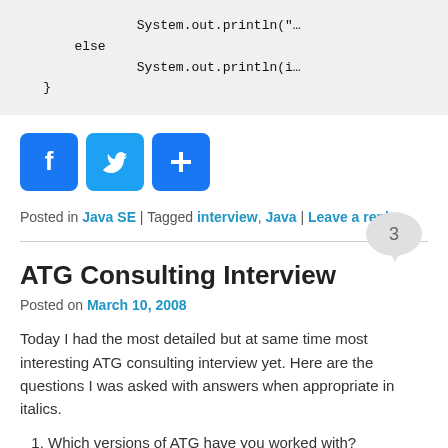[Figure (screenshot): Code snippet showing Java else block with System.out.println calls and closing brace, on grey background]
[Figure (infographic): Social share buttons: Facebook (blue f), Twitter (blue bird), and a blue plus/share button]
Posted in Java SE | Tagged interview, Java | Leave a reply
ATG Consulting Interview
Posted on March 10, 2008
Today I had the most detailed but at same time most interesting ATG consulting interview yet. Here are the questions I was asked with answers when appropriate in italics.
Which versions of ATG have you worked with?
What parts of ATG architecture are you familiar with?